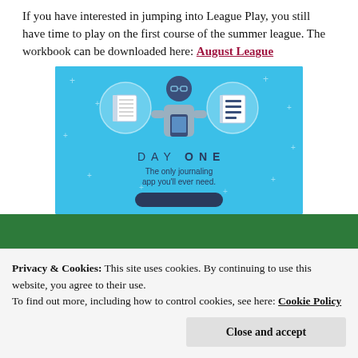If you have interested in jumping into League Play, you still have time to play on the first course of the summer league. The workbook can be downloaded here: August League
[Figure (illustration): Day One journaling app advertisement banner with light blue background, showing a person looking at phone flanked by two circular icons with notebook/document images, text reading 'DAY ONE' and 'The only journaling app you'll ever need.']
Privacy & Cookies: This site uses cookies. By continuing to use this website, you agree to their use.
To find out more, including how to control cookies, see here: Cookie Policy